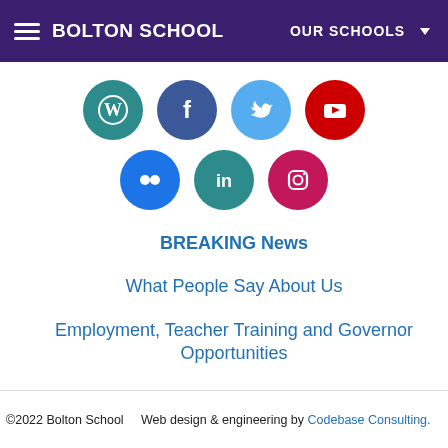BOLTON SCHOOL   OUR SCHOOLS
[Figure (infographic): Seven social media icons in two rows: WordPress (teal), Facebook (dark blue), Twitter (light blue), YouTube (red) in top row; Flickr (blue), LinkedIn (teal), Instagram (pink/magenta) in bottom row — all circular]
BREAKING News
What People Say About Us
Employment, Teacher Training and Governor Opportunities
School Policies and Procedures
Accessibility
©2022 Bolton School    Web design & engineering by Codebase Consulting.